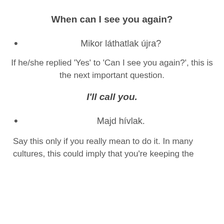When can I see you again?
Mikor láthatlak újra?
If he/she replied 'Yes' to 'Can I see you again?', this is the next important question.
I'll call you.
Majd hívlak.
Say this only if you really mean to do it. In many cultures, this could imply that you're keeping the